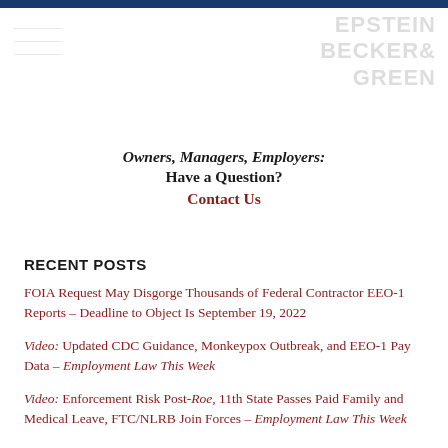Owners, Managers, Employers:
Have a Question?
Contact Us
RECENT POSTS
FOIA Request May Disgorge Thousands of Federal Contractor EEO-1 Reports – Deadline to Object Is September 19, 2022
Video: Updated CDC Guidance, Monkeypox Outbreak, and EEO-1 Pay Data – Employment Law This Week
Video: Enforcement Risk Post-Roe, 11th State Passes Paid Family and Medical Leave, FTC/NLRB Join Forces – Employment Law This Week